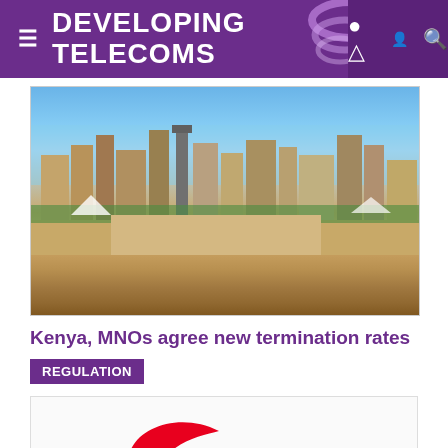DEVELOPING TELECOMS
[Figure (photo): Aerial/ground-level photo of Nairobi city skyline with buildings, open plaza, blue sky]
Kenya, MNOs agree new termination rates
REGULATION
[Figure (logo): Safaricom logo — red swoosh with green text 'Safaricom']